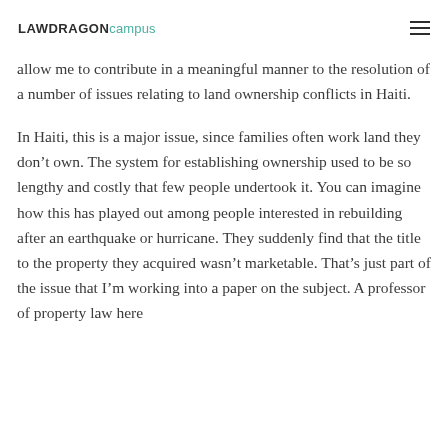LAWDRAGON campus
allow me to contribute in a meaningful manner to the resolution of a number of issues relating to land ownership conflicts in Haiti.
In Haiti, this is a major issue, since families often work land they don't own. The system for establishing ownership used to be so lengthy and costly that few people undertook it. You can imagine how this has played out among people interested in rebuilding after an earthquake or hurricane. They suddenly find that the title to the property they acquired wasn't marketable. That's just part of the issue that I'm working into a paper on the subject. A professor of property law here